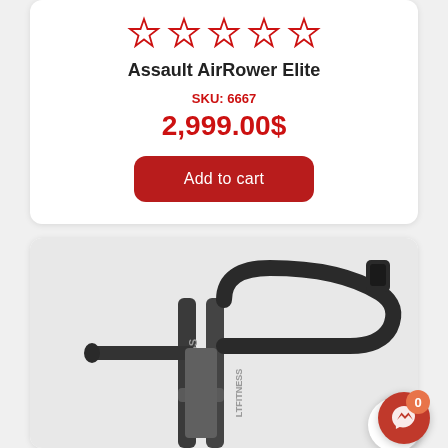[Figure (other): Five empty red star rating icons in a row]
Assault AirRower Elite
SKU: 6667
2,999.00$
Add to cart
[Figure (photo): Close-up photo of the handlebars and frame of an Assault Fitness rowing machine, dark metal with 'LT FITNESS' text visible on the column]